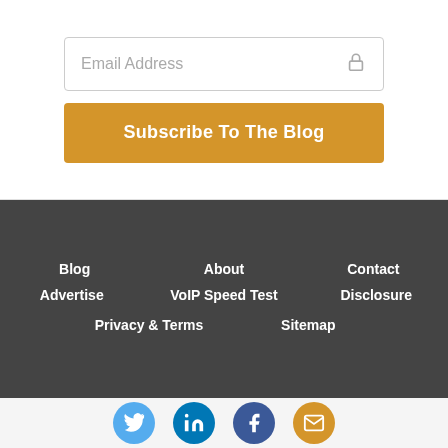Email Address
Subscribe To The Blog
Blog
About
Contact
Advertise
VoIP Speed Test
Disclosure
Privacy & Terms
Sitemap
[Figure (infographic): Social media icons row: Twitter (blue circle), LinkedIn (dark blue circle), Facebook (dark blue circle), Email (orange circle)]